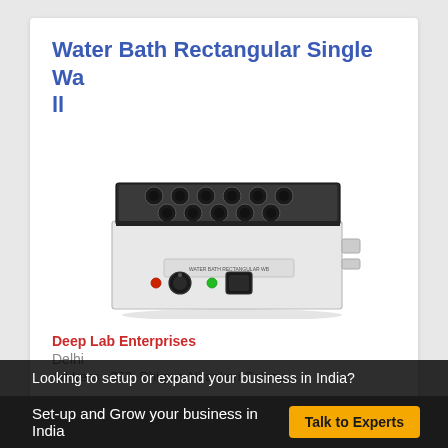Water Bath Rectangular Single Wall
[Figure (photo): A rectangular laboratory water bath with single wall construction. White/silver metal casing, black top lid with multiple circular openings (ports). Front panel has indicator lights, two rotary knobs/controls, and a display panel.]
Deep Lab Enterprises
Delhi
Address : 353, Dhirpur, Nirankari Colony,
Looking to setup or expand your business in India?
Set-up and Grow your business in India  Talk to Experts